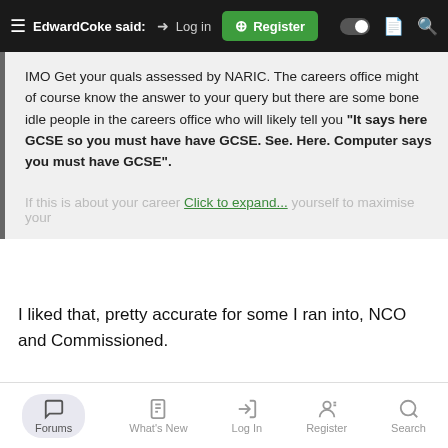EdwardCoke said: → Log in  Register
IMO Get your quals assessed by NARIC. The careers office might of course know the answer to your query but there are some bone idle people in the careers office who will likely tell you "It says here GCSE so you must have have GCSE. See. Here. Computer says you must have GCSE".
If this is about your career... Click to expand... yourself to maximise your
I liked that, pretty accurate for some I ran into, NCO and Commissioned.
paddi-8764
Forums  What's New  Log In  Register  Search